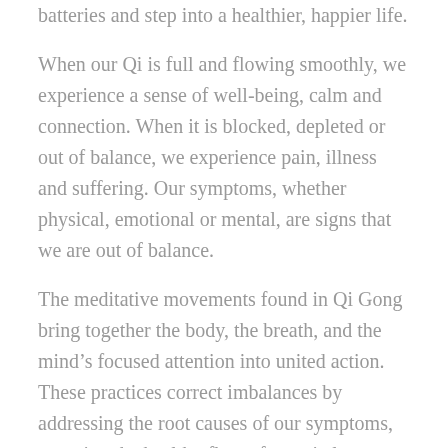batteries and step into a healthier, happier life.
When our Qi is full and flowing smoothly, we experience a sense of well-being, calm and connection. When it is blocked, depleted or out of balance, we experience pain, illness and suffering. Our symptoms, whether physical, emotional or mental, are signs that we are out of balance.
The meditative movements found in Qi Gong bring together the body, the breath, and the mind’s focused attention into united action. These practices correct imbalances by addressing the root causes of our symptoms, restoring the healthy flow of our vital energy.
Throughout the weekend, we will immerse